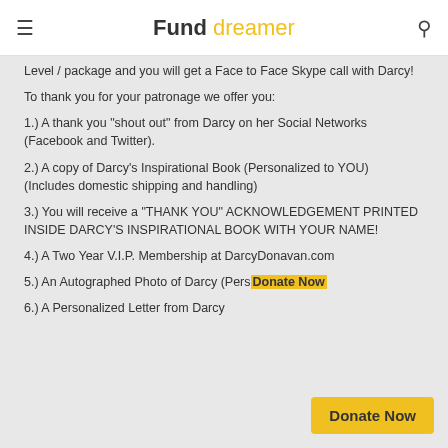Fund dreamer
Level / package and you will get a Face to Face Skype call with Darcy!
To thank you for your patronage we offer you:
1.) A thank you "shout out" from Darcy on her Social Networks (Facebook and Twitter).
2.) A copy of Darcy's Inspirational Book (Personalized to YOU)
(Includes domestic shipping and handling)
3.) You will receive a "THANK YOU" ACKNOWLEDGEMENT PRINTED INSIDE DARCY'S INSPIRATIONAL BOOK WITH YOUR NAME!
4.) A Two Year V.I.P. Membership at DarcyDonavan.com
5.) An Autographed Photo of Darcy (Pers...
6.) A Personalized Letter from Darcy